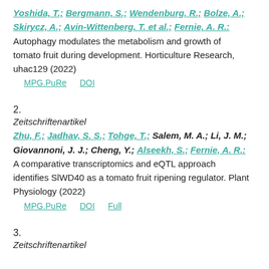Yoshida, T.; Bergmann, S.; Wendenburg, R.; Bolze, A.; Skirycz, A.; Avin-Wittenberg, T. et al.; Fernie, A. R.: Autophagy modulates the metabolism and growth of tomato fruit during development. Horticulture Research, uhac129 (2022)
MPG.PuRe   DOI
2.
Zeitschriftenartikel
Zhu, F.; Jadhav, S. S.; Tohge, T.; Salem, M. A.; Li, J. M.; Giovannoni, J. J.; Cheng, Y.; Alseekh, S.; Fernie, A. R.: A comparative transcriptomics and eQTL approach identifies SlWD40 as a tomato fruit ripening regulator. Plant Physiology (2022)
MPG.PuRe   DOI   Full
3.
Zeitschriftenartikel